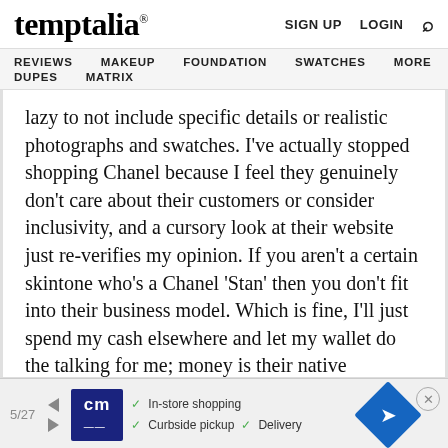temptalia® | SIGN UP  LOGIN  🔍
REVIEWS  MAKEUP  FOUNDATION  SWATCHES  MORE  DUPES  MATRIX
lazy to not include specific details or realistic photographs and swatches. I've actually stopped shopping Chanel because I feel they genuinely don't care about their customers or consider inclusivity, and a cursory look at their website just re-verifies my opinion. If you aren't a certain skintone who's a Chanel 'Stan' then you don't fit into their business model. Which is fine, I'll just spend my cash elsewhere and let my wallet do the talking for me; money is their native language anyway.
[Figure (screenshot): Advertisement banner with CM logo, checkmarks for In-store shopping, Curbside pickup, Delivery, and a blue navigation arrow icon]